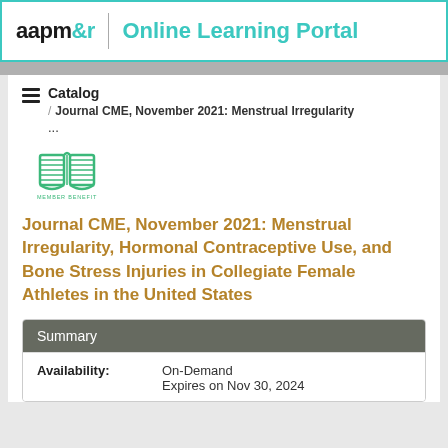aapm&r | Online Learning Portal
Catalog / Journal CME, November 2021: Menstrual Irregularity ...
[Figure (illustration): Open book icon in green color with 'MEMBER BENEFIT' label below it]
Journal CME, November 2021: Menstrual Irregularity, Hormonal Contraceptive Use, and Bone Stress Injuries in Collegiate Female Athletes in the United States
Summary
| Field | Value |
| --- | --- |
| Availability: | On-Demand
Expires on Nov 30, 2024 |